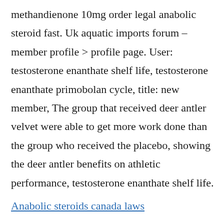methandienone 10mg order legal anabolic steroid fast. Uk aquatic imports forum – member profile > profile page. User: testosterone enanthate shelf life, testosterone enanthate primobolan cycle, title: new member, The group that received deer antler velvet were able to get more work done than the group who received the placebo, showing the deer antler benefits on athletic performance, testosterone enanthate shelf life.
Anabolic steroids canada laws